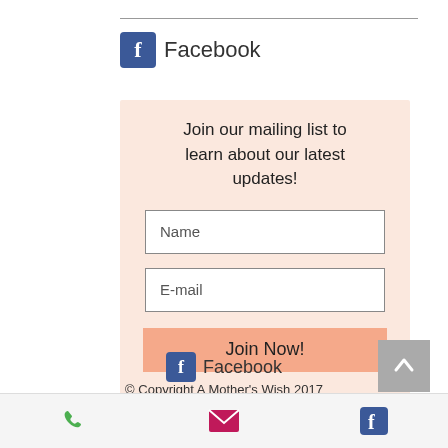[Figure (logo): Facebook logo with blue 'f' icon and 'Facebook' text]
Join our mailing list to learn about our latest updates!
Name
E-mail
Join Now!
[Figure (logo): Facebook logo with blue 'f' icon and 'Facebook' text (bottom)]
© Copyright A Mother's Wish 2017
All Rights Reserved
Phone | Email | Facebook icons